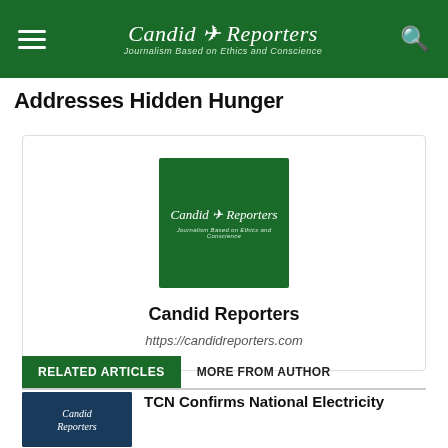Candid Reporters — Journalism Based on Ethics and Conscience
Addresses Hidden Hunger
[Figure (logo): Candid Reporters logo on dark green background with text 'Candid Reporters' and tagline 'Journalism Based on Ethics and Conscience']
Candid Reporters
https://candidreporters.com
RELATED ARTICLES   MORE FROM AUTHOR
TCN Confirms National Electricity